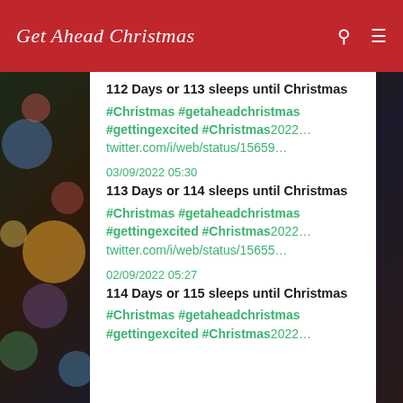Get Ahead Christmas
112 Days or 113 sleeps until Christmas #Christmas #getaheadchristmas #gettingexcited #Christmas2022… twitter.com/i/web/status/15659…
03/09/2022 05:30
113 Days or 114 sleeps until Christmas #Christmas #getaheadchristmas #gettingexcited #Christmas2022… twitter.com/i/web/status/15655…
02/09/2022 05:27
114 Days or 115 sleeps until Christmas #Christmas #getaheadchristmas #gettingexcited #Christmas2022…